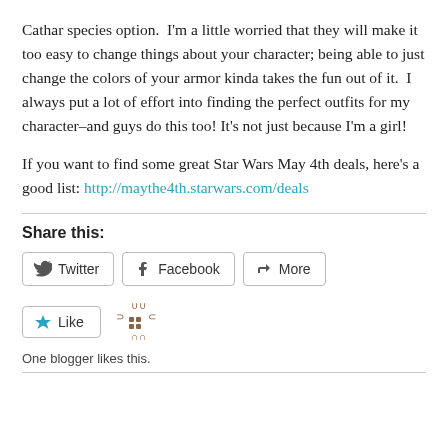Cathar species option.  I'm a little worried that they will make it too easy to change things about your character; being able to just change the colors of your armor kinda takes the fun out of it.  I always put a lot of effort into finding the perfect outfits for my character–and guys do this too! It's not just because I'm a girl!
If you want to find some great Star Wars May 4th deals, here's a good list: http://maythe4th.starwars.com/deals
Share this:
[Figure (infographic): Social sharing buttons: Twitter, Facebook, More; Like button with animated loading icon; 'One blogger likes this.' text]
One blogger likes this.